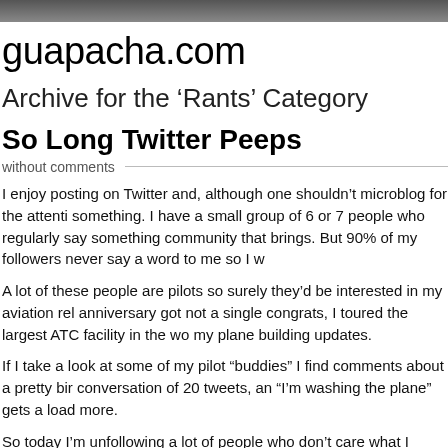guapacha.com
Archive for the ‘Rants’ Category
So Long Twitter Peeps
without comments
I enjoy posting on Twitter and, although one shouldn’t microblog for the attenti something. I have a small group of 6 or 7 people who regularly say something community that brings. But 90% of my followers never say a word to me so I w
A lot of these people are pilots so surely they’d be interested in my aviation rel anniversary got not a single congrats, I toured the largest ATC facility in the wo my plane building updates.
If I take a look at some of my pilot “buddies” I find comments about a pretty bir conversation of 20 tweets, an “I’m washing the plane” gets a load more.
So today I’m unfollowing a lot of people who don’t care what I write. It seems k unwanted leper (are there wanted lepers??) online as well as in the “real” worl